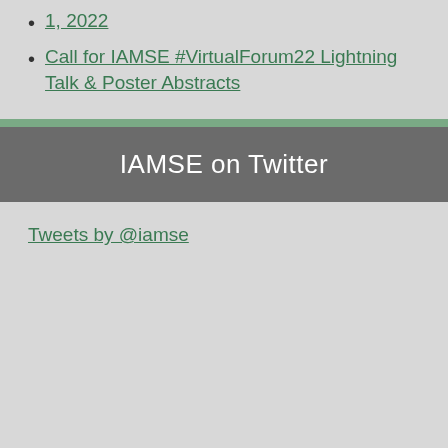1, 2022
Call for IAMSE #VirtualForum22 Lightning Talk & Poster Abstracts
IAMSE on Twitter
Tweets by @iamse